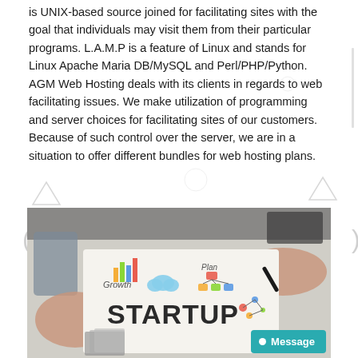is UNIX-based source joined for facilitating sites with the goal that individuals may visit them from their particular programs. L.A.M.P is a feature of Linux and stands for Linux Apache Maria DB/MySQL and Perl/PHP/Python. AGM Web Hosting deals with its clients in regards to web facilitating issues. We make utilization of programming and server choices for facilitating sites of our customers. Because of such control over the server, we are in a situation to offer different bundles for web hosting plans.
[Figure (photo): A person holding a paper with startup doodles including 'STARTUP' text, growth chart, cloud icon, plan flowchart, and business icons. Glasses and office items visible in background. A 'Message' chat button overlay in teal at bottom right.]